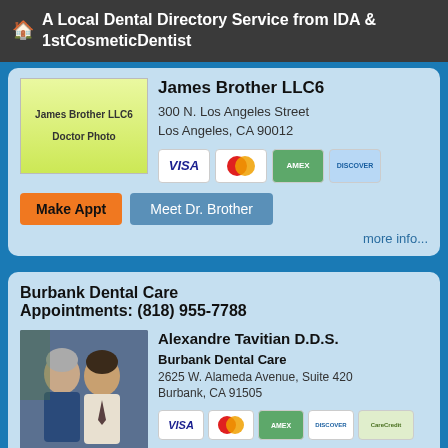A Local Dental Directory Service from IDA & 1stCosmeticDentist
James Brother LLC6
Doctor Photo
James Brother LLC6
300 N. Los Angeles Street
Los Angeles, CA 90012
[Figure (other): Credit card logos: Visa, MasterCard, American Express, Discover]
Make Appt   Meet Dr. Brother
more info...
Burbank Dental Care
Appointments: (818) 955-7788
[Figure (photo): Photo of two men, presumably dentists at Burbank Dental Care]
Alexandre Tavitian D.D.S.
Burbank Dental Care
2625 W. Alameda Avenue, Suite 420
Burbank, CA 91505
[Figure (other): Credit card logos: Visa, MasterCard, American Express, Discover, CareCredit]